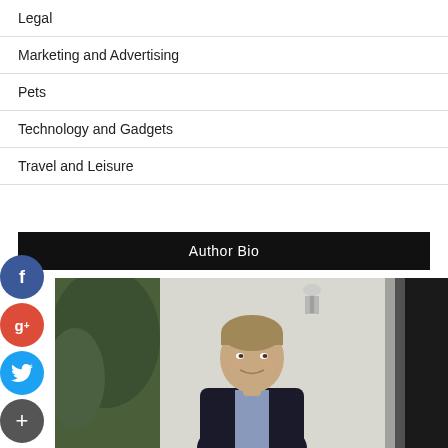Legal
Marketing and Advertising
Pets
Technology and Gadgets
Travel and Leisure
Author Bio
[Figure (photo): Portrait photo of a middle-aged man with light brown/grey hair in a dark blazer, smiling slightly, standing outdoors in front of a white wall with greenery and a lamp visible in the background.]